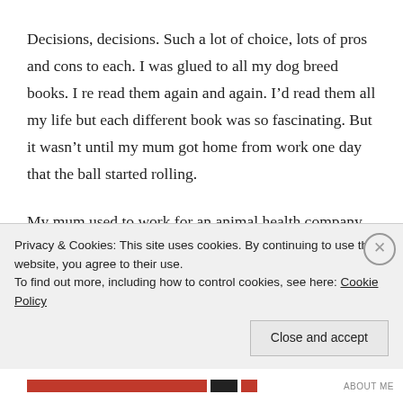Decisions, decisions. Such a lot of choice, lots of pros and cons to each. I was glued to all my dog breed books. I re read them again and again. I'd read them all my life but each different book was so fascinating. But it wasn't until my mum got home from work one day that the ball started rolling.
My mum used to work for an animal health company, doing her baking for the staff's lunches. Any cake you need, see my mum! Her cakes taste the best and ruin any other cake for you, the taste is that good. And she
Privacy & Cookies: This site uses cookies. By continuing to use this website, you agree to their use.
To find out more, including how to control cookies, see here: Cookie Policy